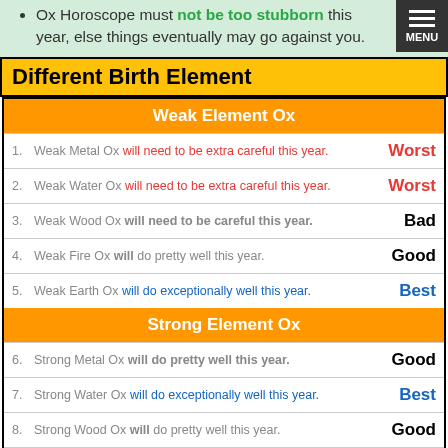Ox Horoscope must not be too stubborn this year, else things eventually may go against you.
Different Birth Element
| Weak Element Ox |  |  |
| --- | --- | --- |
| 1. | Weak Metal Ox will need to be extra careful this year. | Worst |
| 2. | Weak Water Ox will need to be extra careful this year. | Worst |
| 3. | Weak Wood Ox will need to be careful this year. | Bad |
| 4. | Weak Fire Ox will do pretty well this year. | Good |
| 5. | Weak Earth Ox will do exceptionally well this year. | Best |
| Strong Element Ox |  |  |
| 6. | Strong Metal Ox will do pretty well this year. | Good |
| 7. | Strong Water Ox will do exceptionally well this year. | Best |
| 8. | Strong Wood Ox will do pretty well this year. | Good |
| 9. | Strong Fire Ox will need to be careful this year. | Bad |